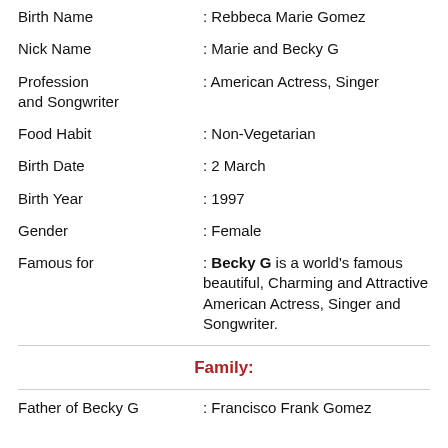Birth Name : Rebbeca Marie Gomez
Nick Name : Marie and Becky G
Profession : American Actress, Singer and Songwriter
Food Habit : Non-Vegetarian
Birth Date : 2 March
Birth Year : 1997
Gender : Female
Famous for : Becky G is a world's famous beautiful, Charming and Attractive American Actress, Singer and Songwriter.
Family:
Father of Becky G : Francisco Frank Gomez